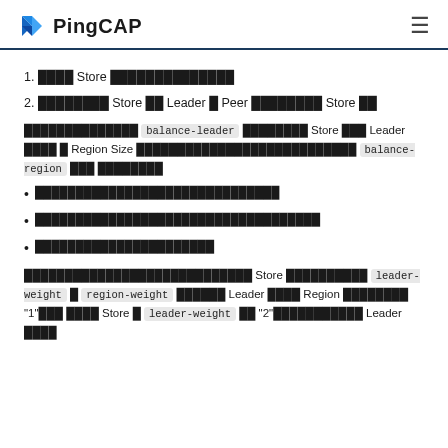PingCAP
1. 调整 Store 的权重进行调度
2. 手动迁移 Store 的 Leader 与 Peer 到指定的 Store 上
调度器在进行调度时，balance-leader 会统计 Store 的 Leader 数量与 Region Size 等信息决定是否发起调度 balance-region 不做展开
每个 Region 的 Leader 和 Peer 的个数
每个 Region 的 Leader 和 Peer 的大小
每个 Region 的读写速度
如果一个 Store 配置了 leader-weight 和 region-weight 参数，Leader 和 Region 的权重将是 "1"，如果 Store 的 leader-weight 是 "2" 则该 Leader 的